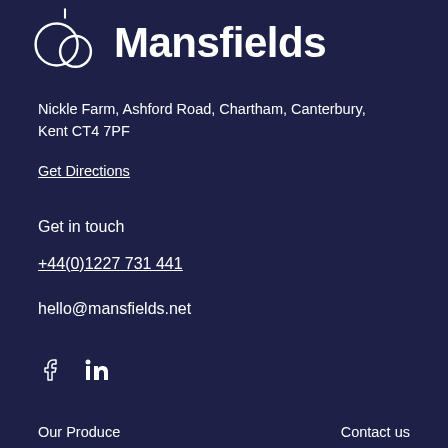[Figure (logo): Mansfields logo with two overlapping circles/rings and text 'Mansfields']
Nickle Farm, Ashford Road, Chartham, Canterbury, Kent CT4 7PF
Get Directions
Get in touch
+44(0)1227 731 441
hello@mansfields.net
[Figure (illustration): Facebook and LinkedIn social media icons]
Our Produce
Contact us